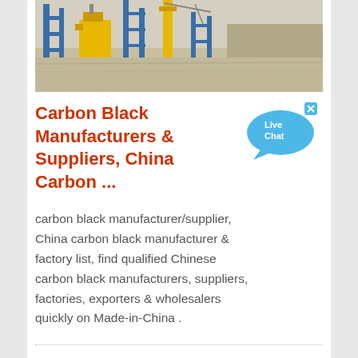[Figure (photo): Industrial construction site with yellow and blue machinery and equipment on sandy ground]
Carbon Black Manufacturers & Suppliers, China Carbon ...
carbon black manufacturer/supplier, China carbon black manufacturer & factory list, find qualified Chinese carbon black manufacturers, suppliers, factories, exporters & wholesalers quickly on Made-in-China .